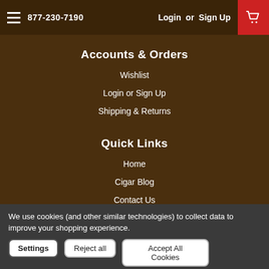877-230-7190   Login or Sign Up
Accounts & Orders
Wishlist
Login or Sign Up
Shipping & Returns
Quick Links
Home
Cigar Blog
Contact Us
We use cookies (and other similar technologies) to collect data to improve your shopping experience.
Settings
Reject all
Accept All Cookies